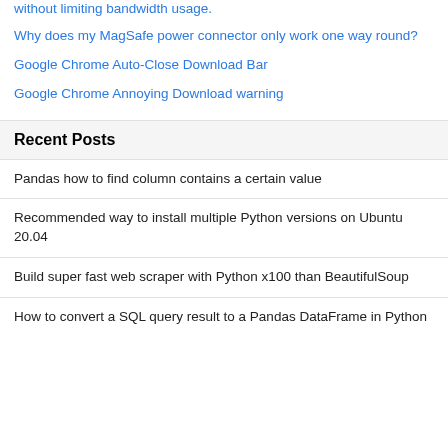without limiting bandwidth usage.
Why does my MagSafe power connector only work one way round?
Google Chrome Auto-Close Download Bar
Google Chrome Annoying Download warning
Recent Posts
Pandas how to find column contains a certain value
Recommended way to install multiple Python versions on Ubuntu 20.04
Build super fast web scraper with Python x100 than BeautifulSoup
How to convert a SQL query result to a Pandas DataFrame in Python